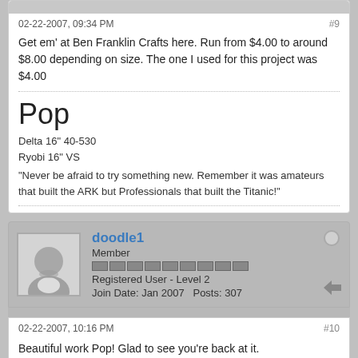02-22-2007, 09:34 PM
#9
Get em' at Ben Franklin Crafts here. Run from $4.00 to around $8.00 depending on size. The one I used for this project was $4.00
Pop
Delta 16" 40-530
Ryobi 16" VS
"Never be afraid to try something new. Remember it was amateurs that built the ARK but Professionals that built the Titanic!"
doodle1
Member
Registered User - Level 2
Join Date: Jan 2007   Posts: 307
02-22-2007, 10:16 PM
#10
Beautiful work Pop! Glad to see you're back at it.